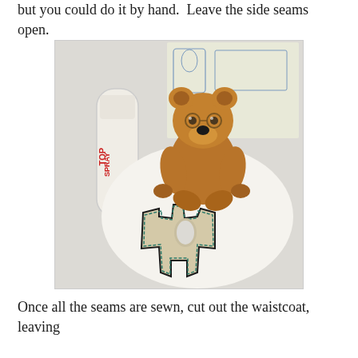but you could do it by hand.  Leave the side seams open.
[Figure (photo): A small brown fuzzy teddy bear with round glasses sits next to a bottle of spray starch (Top Spray brand) and a cut fabric waistcoat pattern piece with stitched outlines, on a white surface with a sewing pattern in the background.]
Once all the seams are sewn, cut out the waistcoat, leaving